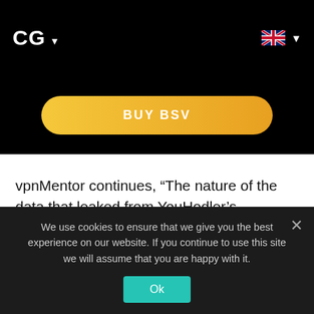CG ▾
[Figure (illustration): BUY BSV button — a golden/yellow rounded pill-shaped button on a black background with white text reading 'BUY BSV']
vpnMentor continues, “The nature of the data that leaked from YouHodler’s database could have serious consequences. Any platform that stores credit card data should be taking several security precautions. If YouHodler only stored the BIN and last four digits of user credit cards, there wouldn’t be as much of an impact in this regard.
We use cookies to ensure that we give you the best experience on our website. If you continue to use this site we will assume that you are happy with it. Ok